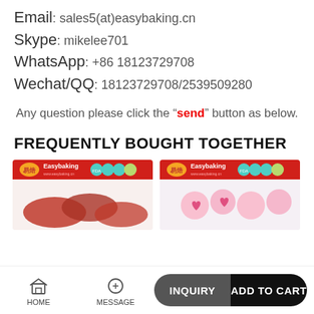Email: sales5(at)easybaking.cn
Skype: mikelee701
WhatsApp: +86 18123729708
Wechat/QQ: 18123729708/2539509280
Any question please click the "send" button as below.
FREQUENTLY BOUGHT TOGETHER
[Figure (photo): Easybaking product image - red baking mold]
[Figure (photo): Easybaking product image - pink heart decorations]
HOME  MESSAGE  INQUIRY  ADD TO CART